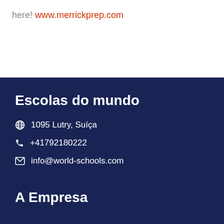here! www.merrickprep.com
Escolas do mundo
1095 Lutry, Suíça
+41792180222
info@world-schools.com
A Empresa